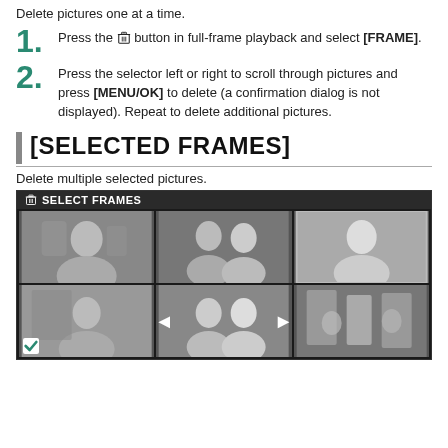Delete pictures one at a time.
1. Press the trash button in full-frame playback and select [FRAME].
2. Press the selector left or right to scroll through pictures and press [MENU/OK] to delete (a confirmation dialog is not displayed). Repeat to delete additional pictures.
[SELECTED FRAMES]
Delete multiple selected pictures.
[Figure (screenshot): Camera display showing SELECT FRAMES menu with a 3x2 grid of thumbnail photos of women. The bottom-left thumbnail has a checkmark selected indicator and the middle bottom thumbnail has left/right arrows.]